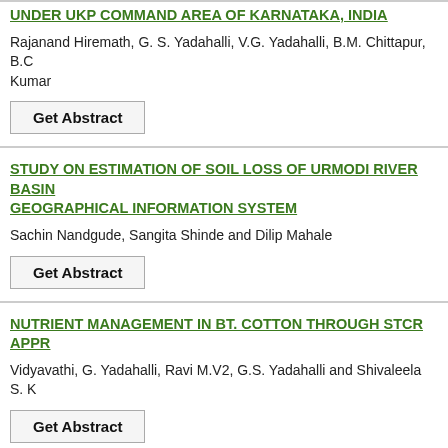UNDER UKP COMMAND AREA OF KARNATAKA, INDIA
Rajanand Hiremath, G. S. Yadahalli, V.G. Yadahalli, B.M. Chittapur, B.C. Kumar
STUDY ON ESTIMATION OF SOIL LOSS OF URMODI RIVER BASIN GEOGRAPHICAL INFORMATION SYSTEM
Sachin Nandgude, Sangita Shinde and Dilip Mahale
NUTRIENT MANAGEMENT IN BT. COTTON THROUGH STCR APPR
Vidyavathi, G. Yadahalli, Ravi M.V2, G.S. Yadahalli and Shivaleela S. K
AN ASSESSMENT OF GENETIC FIDELITY IN LEPIDIUM SATIVUM RAPD MARKERS
Suman, Amandeep Kaur, Rakesh and Anita Grewal